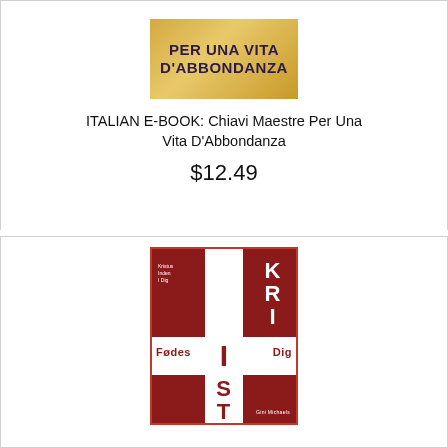[Figure (illustration): Book cover with golden background and text 'PER UNA VITA D'ABBONDANZA' in dark purple bold uppercase letters]
ITALIAN E-BOOK: Chiavi Maestre Per Una Vita D'Abbondanza
$12.49
[Figure (illustration): Book cover with dark red background and white cross, text 'KRISTUS FØDES I DIG' arranged in cross pattern, small text on left reads 'Kristus Inden I Dig', author name at bottom right 'Gini Michaels']